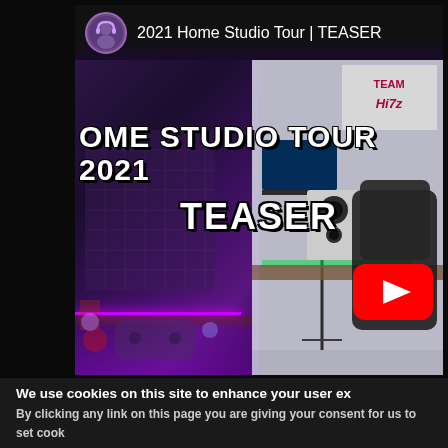[Figure (screenshot): YouTube video thumbnail screenshot showing '2021 Home Studio Tour | TEASER'. Top bar shows avatar icon and video title. Main thumbnail image is split-screen: left side purple-lit gaming/music studio room with neon lights and collectibles, right side brighter studio with speakers, monitors, gaming chair, and 'Team Hitz' sign. Large bold text overlay reads 'HOME STUDIO TOUR 2021 TEASER' in white with black outline. YouTube play button overlay visible in lower right.]
We use cookies on this site to enhance your user ex...
By clicking any link on this page you are giving your consent for us to set cook...